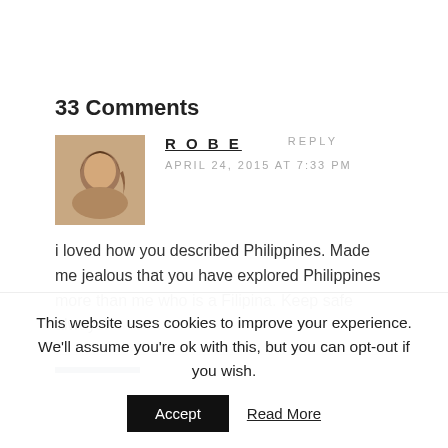33 Comments
ROBE
APRIL 24, 2015 AT 7:33 PM
REPLY
i loved how you described Philippines. Made me jealous that you have explored Philippines more than me who is a Filipina. Keep safe always!
This website uses cookies to improve your experience. We'll assume you're ok with this, but you can opt-out if you wish.
Accept  Read More